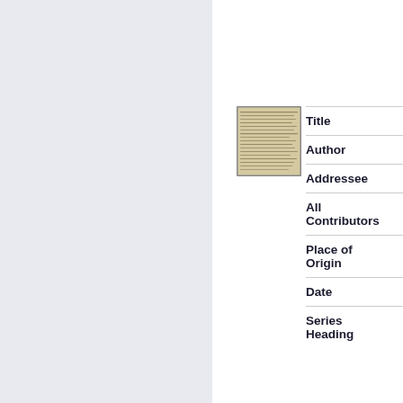[Figure (illustration): Thumbnail image of a handwritten manuscript page with old cursive script on aged parchment-colored paper, bordered by a gray frame.]
Title
Author
Addressee
All Contributors
Place of Origin
Date
Series Heading